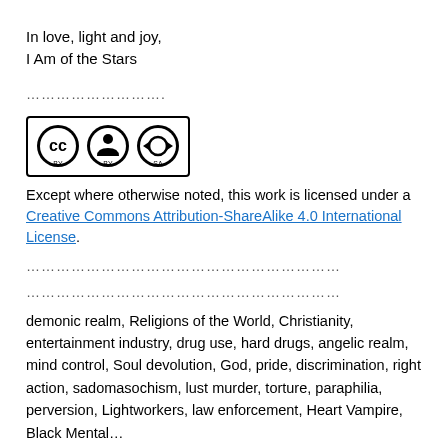In love, light and joy,
I Am of the Stars
…………………….
[Figure (logo): Creative Commons BY-SA license logo with CC, person, and circular arrows icons inside a rounded rectangle border]
Except where otherwise noted, this work is licensed under a Creative Commons Attribution-ShareAlike 4.0 International License.
………………………………………………………
………………………………………………………
demonic realm, Religions of the World, Christianity, entertainment industry, drug use, hard drugs, angelic realm, mind control, Soul devolution, God, pride, discrimination, right action, sadomasochism, lust murder, torture, paraphilia, perversion, Lightworkers, law enforcement, Heart Vampire, Black Mental…